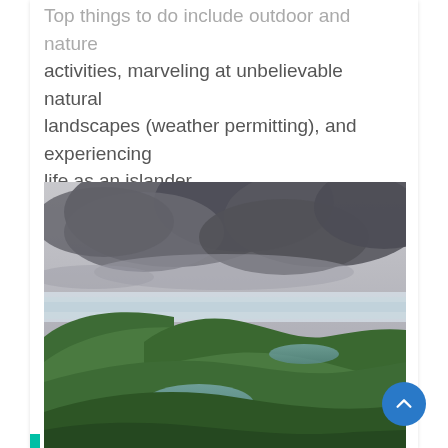Top things to do include outdoor and nature activities, marveling at unbelievable natural landscapes (weather permitting), and experiencing life as an islander.
[Figure (photo): Aerial or elevated view of a volcanic crater landscape with green hills, crater lakes, and dramatic storm clouds overhead — likely the Azores islands.]